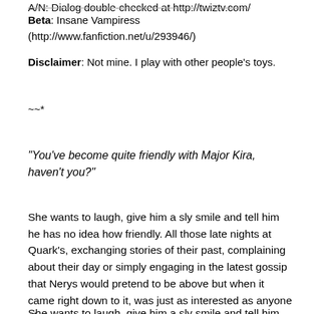A/N: Dialog double-checked at http://twiztv.com/
Beta: Insane Vampiress (http://www.fanfiction.net/u/293946/)
Disclaimer: Not mine. I play with other people's toys.
~~*
"You've become quite friendly with Major Kira, haven't you?"
She wants to laugh, give him a sly smile and tell him he has no idea how friendly. All those late nights at Quark's, exchanging stories of their past, complaining about their day or simply engaging in the latest gossip that Nerys would pretend to be above but when it came right down to it, was just as interested as anyone else.
She wants to laugh, give him a sly smile and tell him he